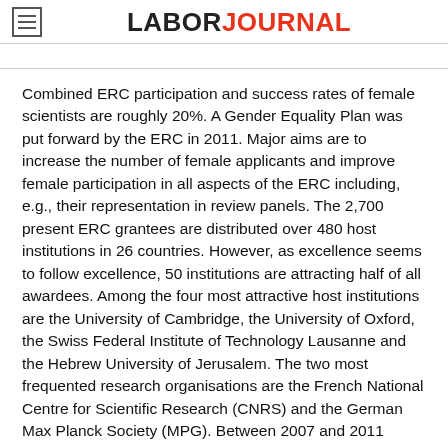LABORJOURNAL
Combined ERC participation and success rates of female scientists are roughly 20%. A Gender Equality Plan was put forward by the ERC in 2011. Major aims are to increase the number of female applicants and improve female participation in all aspects of the ERC including, e.g., their representation in review panels. The 2,700 present ERC grantees are distributed over 480 host institutions in 26 countries. However, as excellence seems to follow excellence, 50 institutions are attracting half of all awardees. Among the four most attractive host institutions are the University of Cambridge, the University of Oxford, the Swiss Federal Institute of Technology Lausanne and the Hebrew University of Jerusalem. The two most frequented research organisations are the French National Centre for Scientific Research (CNRS) and the German Max Planck Society (MPG). Between 2007 and 2011 Switzerland, Israel and France were leading the crowd with respect to the relative success rate, whereas Germany, France and the UK were hosting the most ERC awardees.